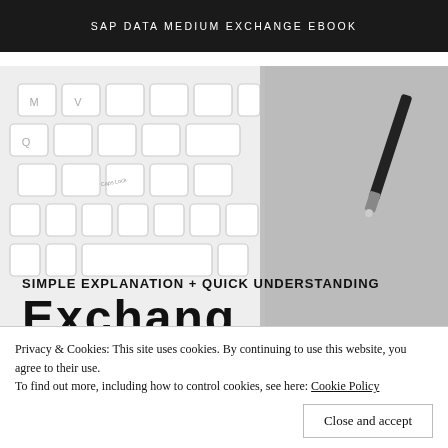SAP DATA MEDIUM EXCHANGE EBOOK
[Figure (photo): Photo of a white keyboard and gray notebook with a black pen, with text overlay 'SIMPLE EXPLANATION + QUICK UNDERSTANDING' and partial large text 'Exchange' at the bottom]
Privacy & Cookies: This site uses cookies. By continuing to use this website, you agree to their use.
To find out more, including how to control cookies, see here: Cookie Policy
Close and accept